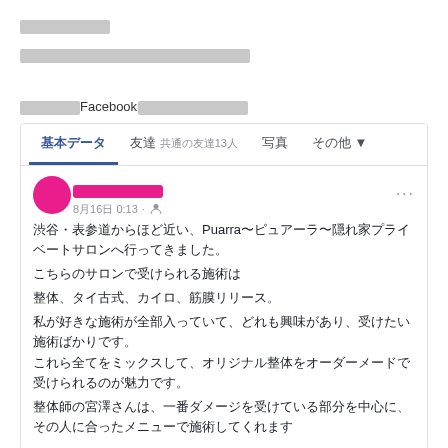［redacted text block line 1］
［redacted text block line 2 - longer］
［redacted text］Facebook［redacted text block］
[Figure (screenshot): Facebook profile navigation tabs: 基本データ, 友達 共通の友達13人, 写真, その他▼]
[Figure (screenshot): Facebook post from August 16 at 0:13 (avatar and name redacted in pink). Post text in Japanese about visiting Puarra salon in Shibuya/Omotesando area, listing services: 整体、タイ古式、カイロ、筋膜リリース。 and describing the custom massage experience. Mentions therapist 宮澤さん who focuses on the most damaged area.]